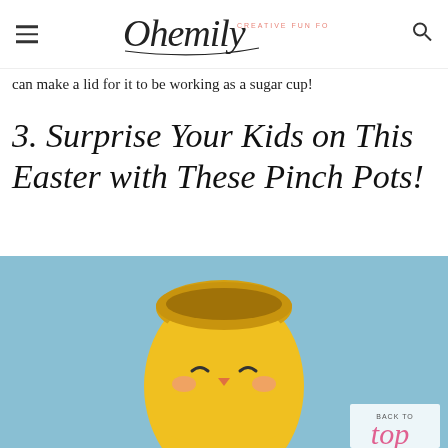Ohemily — CREATIVE FUN FOR EVERYONE
can make a lid for it to be working as a sugar cup!
3. Surprise Your Kids on This Easter with These Pinch Pots!
[Figure (photo): A yellow clay pinch pot shaped like an Easter egg with a cute smiling chick face painted on it, sitting on a light blue background. The pot is open at the top and has rosy cheeks and closed crescent eyes.]